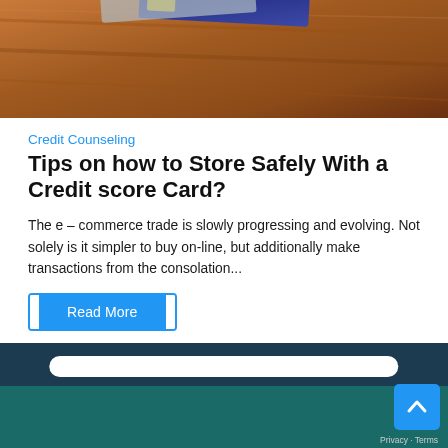[Figure (photo): Photo of credit cards on a wooden surface, partially cropped at top]
Credit Counseling
Tips on how to Store Safely With a Credit score Card?
The e – commerce trade is slowly progressing and evolving. Not solely is it simpler to buy on-line, but additionally make transactions from the consolation...
Read More
[Figure (screenshot): Website footer area with dark navy background, a white rounded search/input bar, teal lower section, a blue scroll-to-top button with upward arrow, and Privacy·Terms text]